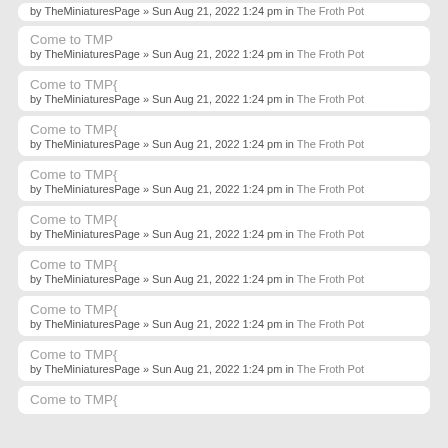by TheMiniaturesPage » Sun Aug 21, 2022 1:24 pm in The Froth Pot
Come to TMP
by TheMiniaturesPage » Sun Aug 21, 2022 1:24 pm in The Froth Pot
Come to TMP{
by TheMiniaturesPage » Sun Aug 21, 2022 1:24 pm in The Froth Pot
Come to TMP{
by TheMiniaturesPage » Sun Aug 21, 2022 1:24 pm in The Froth Pot
Come to TMP{
by TheMiniaturesPage » Sun Aug 21, 2022 1:24 pm in The Froth Pot
Come to TMP{
by TheMiniaturesPage » Sun Aug 21, 2022 1:24 pm in The Froth Pot
Come to TMP{
by TheMiniaturesPage » Sun Aug 21, 2022 1:24 pm in The Froth Pot
Come to TMP{
by TheMiniaturesPage » Sun Aug 21, 2022 1:24 pm in The Froth Pot
Come to TMP{
by TheMiniaturesPage » Sun Aug 21, 2022 1:24 pm in The Froth Pot
Come to TMP{
by TheMiniaturesPage » Sun Aug 21, 2022 1:24 pm in The Froth Pot
Come to TMP{